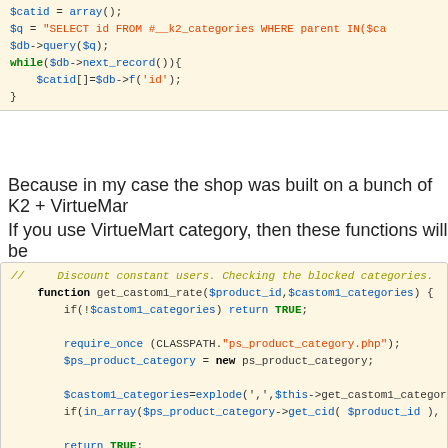[Figure (screenshot): Code block showing PHP snippet with $catid array, SQL query on #__k2_categories, $db->query, while loop with next_record and $catid[]=]
Because in my case the shop was built on a bunch of K2 + VirtueMart
If you use VirtueMart category, then these functions will be
[Figure (screenshot): Code block showing PHP functions: get_castom1_rate and get_castom1_categories_child with SQL queries, while loops, and category logic]